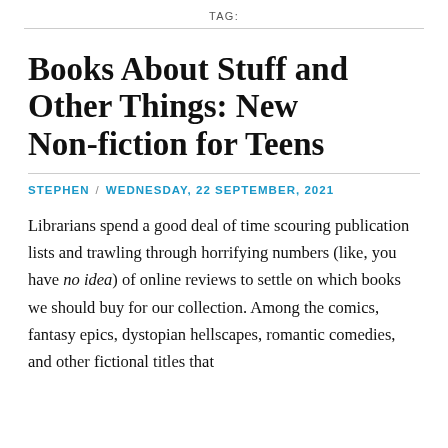TAG:
Books About Stuff and Other Things: New Non-fiction for Teens
STEPHEN / WEDNESDAY, 22 SEPTEMBER, 2021
Librarians spend a good deal of time scouring publication lists and trawling through horrifying numbers (like, you have no idea) of online reviews to settle on which books we should buy for our collection. Among the comics, fantasy epics, dystopian hellscapes, romantic comedies, and other fictional titles that